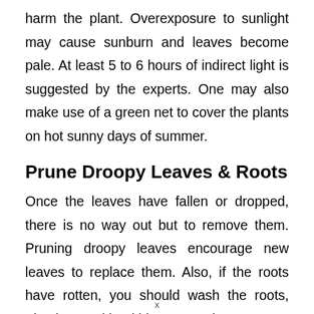harm the plant. Overexposure to sunlight may cause sunburn and leaves become pale. At least 5 to 6 hours of indirect light is suggested by the experts. One may also make use of a green net to cover the plants on hot sunny days of summer.
Prune Droopy Leaves & Roots
Once the leaves have fallen or dropped, there is no way out but to remove them. Pruning droopy leaves encourage new leaves to replace them. Also, if the roots have rotten, you should wash the roots, trim the good healthier part and try to grow
x